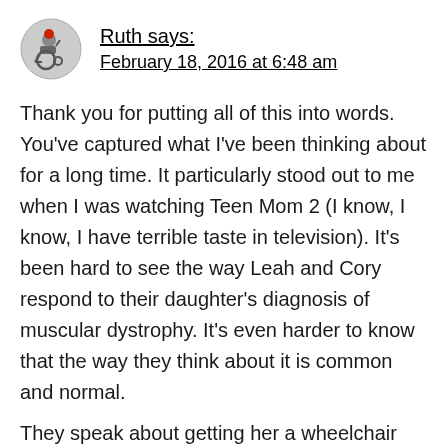[Figure (illustration): Avatar icon showing a wheelchair user with a red element, circular profile picture]
Ruth says:
February 18, 2016 at 6:48 am
Thank you for putting all of this into words. You've captured what I've been thinking about for a long time. It particularly stood out to me when I was watching Teen Mom 2 (I know, I know, I have terrible taste in television). It's been hard to see the way Leah and Cory respond to their daughter's diagnosis of muscular dystrophy. It's even harder to know that the way they think about it is common and normal.
They speak about getting her a wheelchair